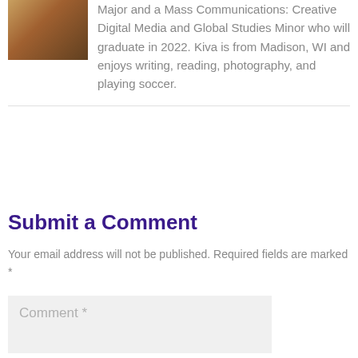[Figure (photo): Partial photo of a person, cropped at top of page]
Major and a Mass Communications: Creative Digital Media and Global Studies Minor who will graduate in 2022. Kiva is from Madison, WI and enjoys writing, reading, photography, and playing soccer.
Submit a Comment
Your email address will not be published. Required fields are marked *
Comment *